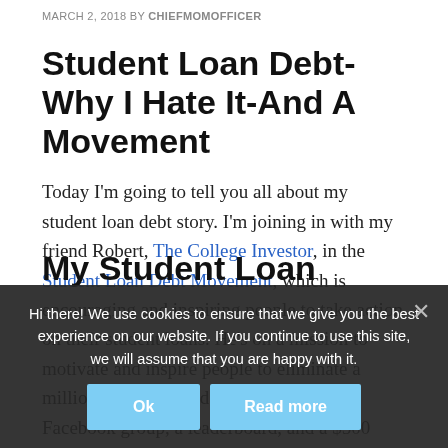MARCH 2, 2018 BY CHIEFMOMOFFICER
Student Loan Debt-Why I Hate It-And A Movement
Today I'm going to tell you all about my student loan debt story. I'm joining in with my friend Robert, The College Investor, in the Student Loan Debt Movement, which is encouraging and inspiring people to take action on their student loans. He's on a mission to motivate and inspire people to eliminate a million dollars in student loans. There's a Facebook group, a leaderboard, and a $500 giveaway all to help people tackle those student loans. Join on in!
My Student Loan
Hi there! We use cookies to ensure that we give you the best experience on our website. If you continue to use this site, we will assume that you are happy with it.